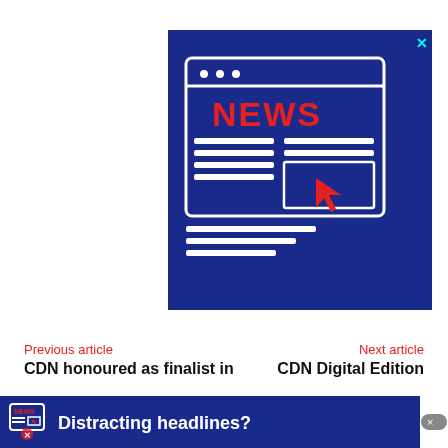[Figure (illustration): Dark blue advertisement banner with a news website icon showing 'NEWS' in red letters with a red cursor/arrow pointer. Top-right corner has a cyan X close button.]
Previous article
Next article
CDN honoured as finalist in
CDN Digital Edition
[Figure (infographic): Dark blue banner at the bottom with a news icon and the text 'Distracting headlines?' in white bold text, with an X close button on the right.]